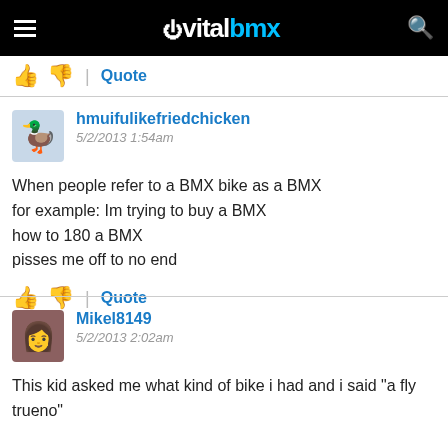vitalbmx
👍 👎 | Quote
hmuifulikefriedchicken
5/2/2013 1:54am

When people refer to a BMX bike as a BMX
for example: Im trying to buy a BMX
how to 180 a BMX
pisses me off to no end
👍 👎 | Quote
Mikel8149
5/2/2013 2:02am

This kid asked me what kind of bike i had and i said "a fly trueno"